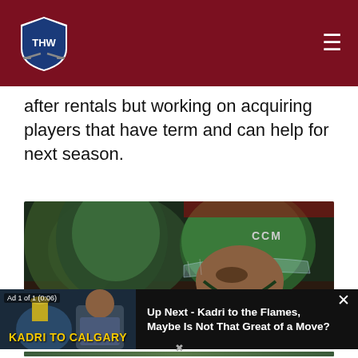THW - The Hockey Writers logo header
after rentals but working on acquiring players that have term and can help for next season.
[Figure (photo): Close-up of Minnesota Wild hockey player wearing green CCM helmet with visor, with another player in background]
[Figure (screenshot): Video ad overlay showing 'Ad 1 of 1 (0:06)' with thumbnail of Kadri to Calgary video with yellow text 'KADRI TO CALGARY' and text 'Up Next - Kadri to the Flames, Maybe Is Not That Great of a Move?']
Up Next - Kadri to the Flames, Maybe Is Not That Great of a Move?